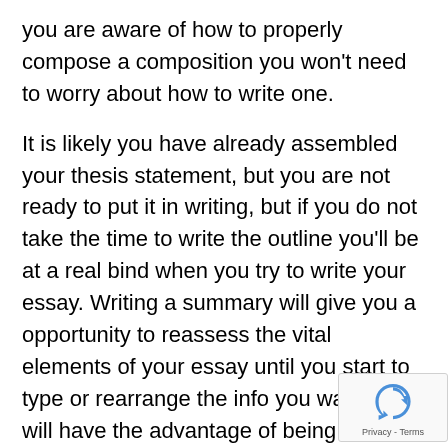you are aware of how to properly compose a composition you won't need to worry about how to write one.

It is likely you have already assembled your thesis statement, but you are not ready to put it in writing, but if you do not take the time to write the outline you'll be at a real bind when you try to write your essay. Writing a summary will give you a opportunity to reassess the vital elements of your essay until you start to type or rearrange the info you want. You will have the advantage of being able to put the points together accurately rather than struggle with too many openings in the material you're attempting to express.

Therefore, why is it so important to compose an outline of your article? It's because you will spend a lot of time searching through your paper and this outline will in you where to go next and how to proceed, and you will be
[Figure (logo): reCAPTCHA logo with 'Privacy - Terms' text]